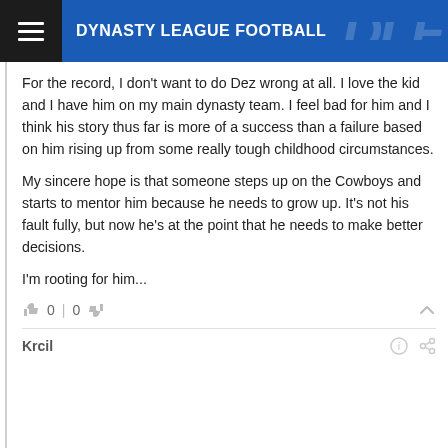DYNASTY LEAGUE FOOTBALL
For the record, I don't want to do Dez wrong at all. I love the kid and I have him on my main dynasty team. I feel bad for him and I think his story thus far is more of a success than a failure based on him rising up from some really tough childhood circumstances.
My sincere hope is that someone steps up on the Cowboys and starts to mentor him because he needs to grow up. It's not his fault fully, but now he's at the point that he needs to make better decisions.
I'm rooting for him...
👍 0 | 0 👎
Krcil